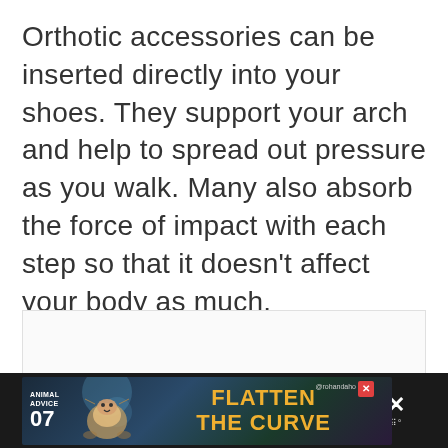Orthotic accessories can be inserted directly into your shoes. They support your arch and help to spread out pressure as you walk. Many also absorb the force of impact with each step so that it doesn’t affect your body as much.
[Figure (other): Advertisement banner at bottom: dark background with text 'ANIMAL ADVICE 07 FLATTEN THE CURVE' with colorful illustration and social handle @rohandaho, close button]